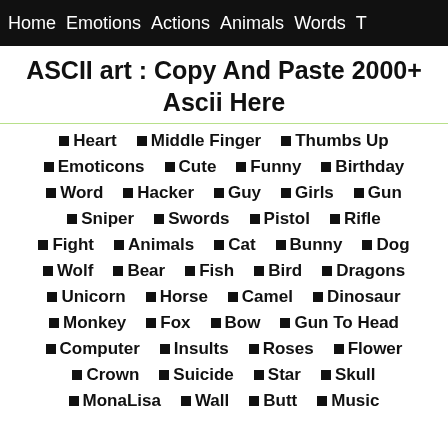Home   Emotions   Actions   Animals   Words   T
ASCII art : Copy And Paste 2000+ Ascii Here
Heart
Middle Finger
Thumbs Up
Emoticons
Cute
Funny
Birthday
Word
Hacker
Guy
Girls
Gun
Sniper
Swords
Pistol
Rifle
Fight
Animals
Cat
Bunny
Dog
Wolf
Bear
Fish
Bird
Dragons
Unicorn
Horse
Camel
Dinosaur
Monkey
Fox
Bow
Gun To Head
Computer
Insults
Roses
Flower
Crown
Suicide
Star
Skull
MonaLisa
Wall
Butt
Music